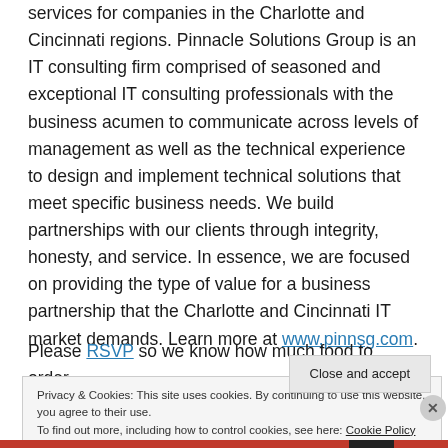services for companies in the Charlotte and Cincinnati regions. Pinnacle Solutions Group is an IT consulting firm comprised of seasoned and exceptional IT consulting professionals with the business acumen to communicate across levels of management as well as the technical experience to design and implement technical solutions that meet specific business needs. We build partnerships with our clients through integrity, honesty, and service. In essence, we are focused on providing the type of value for a business partnership that the Charlotte and Cincinnati IT market demands. Learn more at www.pinnsg.com.
Please RSVP so we know how much food to order.
Privacy & Cookies: This site uses cookies. By continuing to use this website, you agree to their use. To find out more, including how to control cookies, see here: Cookie Policy